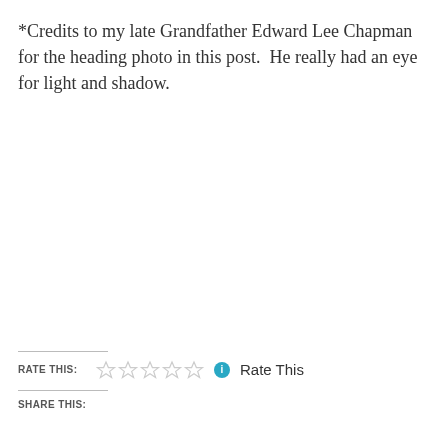*Credits to my late Grandfather Edward Lee Chapman for the heading photo in this post.  He really had an eye for light and shadow.
RATE THIS: ☆☆☆☆☆ ℹ Rate This
SHARE THIS: